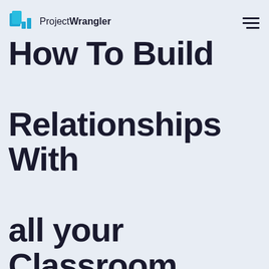ProjectWrangler
How To Build Relationships With all your Classroom